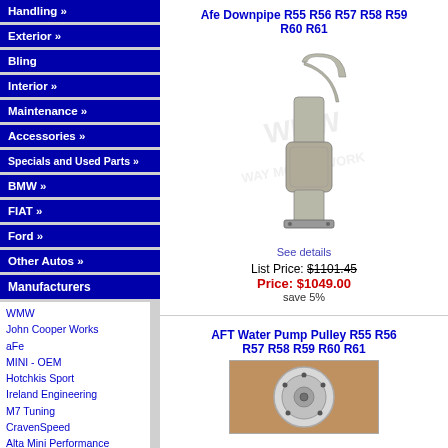Handling »
Exterior »
Bling
Interior »
Maintenance »
Accessories »
Specials and Used Parts »
BMW »
FIAT »
Ford »
Other Autos »
Manufacturers
WMW
John Cooper Works
aFe
MINI - OEM
Hotchkis Sport
Ireland Engineering
M7 Tuning
CravenSpeed
Alta Mini Performance
DDM Works
Akrapovic
H&R
Milltek
Megan Racing
Afe Downpipe R55 R56 R57 R58 R59 R60 R61
[Figure (photo): Downpipe exhaust component, stainless steel with catalytic converter section, WMW watermark overlay]
See details
List Price: $1101.45
Price: $1049.00
save 5%
AFT Water Pump Pulley R55 R56 R57 R58 R59 R60 R61
[Figure (photo): Water pump pulley part, circular metal component on brown background]